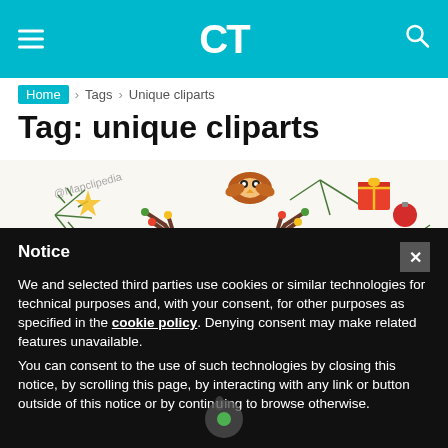CT
Home › Tags › Unique cliparts
Tag: unique cliparts
[Figure (illustration): Christmas-themed clipart illustration with a reindeer face in center, surrounded by festive elements including ornaments, pine branches, a gift box, birds, and decorative items on a light background. Watermark '@Mapclopedia' visible in top left.]
Notice
We and selected third parties use cookies or similar technologies for technical purposes and, with your consent, for other purposes as specified in the cookie policy. Denying consent may make related features unavailable.
You can consent to the use of such technologies by closing this notice, by scrolling this page, by interacting with any link or button outside of this notice or by continuing to browse otherwise.